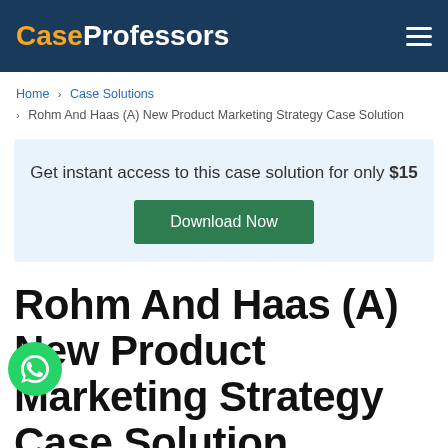CaseProfessors
Home > Case Solutions > Rohm And Haas (A) New Product Marketing Strategy Case Solution
Get instant access to this case solution for only $15
Download Now
Rohm And Haas (A) New Product Marketing Strategy Case Solution